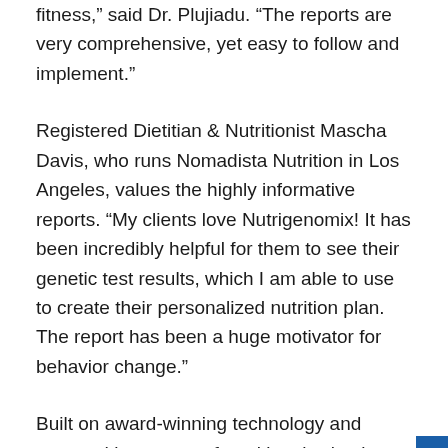fitness,” said Dr. Plujiadu. “The reports are very comprehensive, yet easy to follow and implement.”
Registered Dietitian & Nutritionist Mascha Davis, who runs Nomadista Nutrition in Los Angeles, values the highly informative reports. “My clients love Nutrigenomix! It has been incredibly helpful for them to see their genetic test results, which I am able to use to create their personalized nutrition plan. The report has been a huge motivator for behavior change.”
Built on award-winning technology and powered by a team of nutritional scientists and clinicians, Nutrigenomix leverages the latest advancements in research and technology to enable healthcare professionals and their clients to create effective changes for optimal health and performance. As the only lifestyle genomics testing company that was established at a major university and supports independent randomized